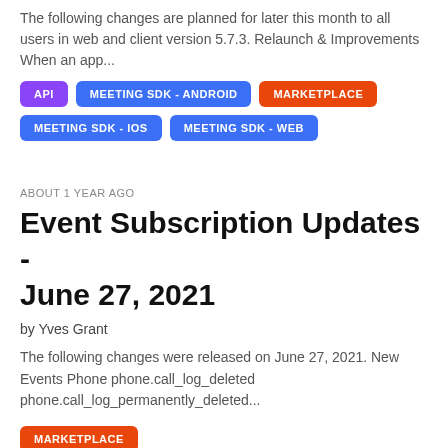The following changes are planned for later this month to all users in web and client version 5.7.3. Relaunch & Improvements When an app...
API
MEETING SDK - ANDROID
MARKETPLACE
MEETING SDK - IOS
MEETING SDK - WEB
ABOUT 1 YEAR AGO
Event Subscription Updates - June 27, 2021
by Yves Grant
The following changes were released on June 27, 2021. New Events Phone phone.call_log_deleted phone.call_log_permanently_deleted...
MARKETPLACE